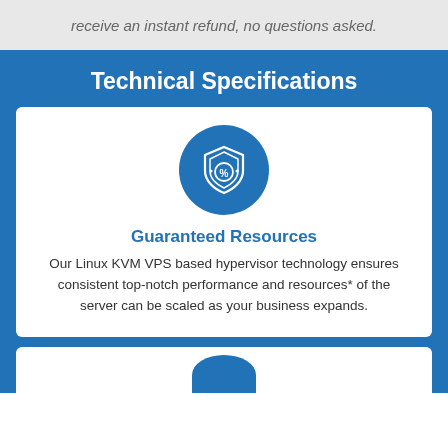receive an instant refund, no questions asked.
Technical Specifications
[Figure (illustration): Blue circle icon containing a shield with a percentage/discount badge symbol drawn in white lines]
Guaranteed Resources
Our Linux KVM VPS based hypervisor technology ensures consistent top-notch performance and resources* of the server can be scaled as your business expands.